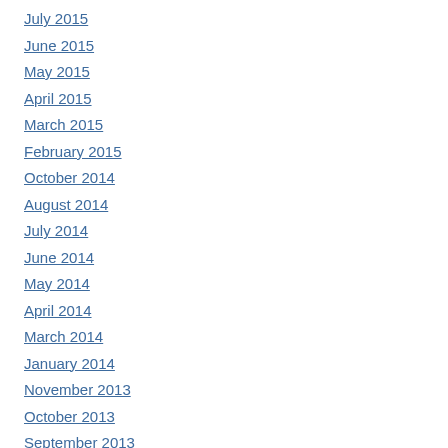July 2015
June 2015
May 2015
April 2015
March 2015
February 2015
October 2014
August 2014
July 2014
June 2014
May 2014
April 2014
March 2014
January 2014
November 2013
October 2013
September 2013
August 2013
July 2013